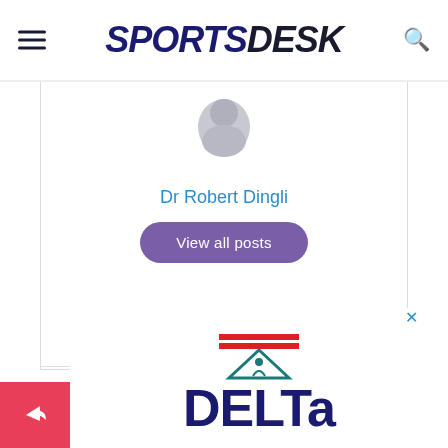SPORTSDESK
[Figure (illustration): Circular grey avatar/silhouette of a person, partially cropped at top]
Dr Robert Dingli
View all posts
RELATED TOPICS   FEATURED
CLICK TO COMMENT
[Figure (logo): Delta brand logo with triangle symbol and horizontal stripes, text reads DELTA]